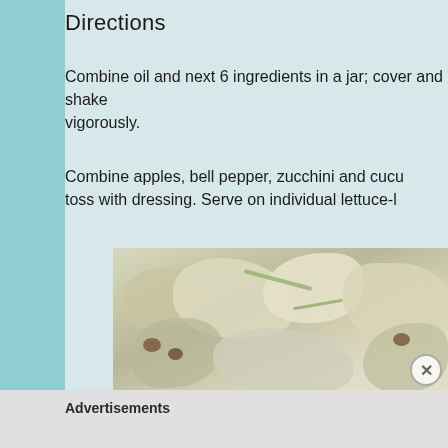Directions
Combine oil and next 6 ingredients in a jar; cover and shake vigorously.
Combine apples, bell pepper, zucchini and cucumber; toss with dressing. Serve on individual lettuce-l
[Figure (photo): Close-up photo of a salad with thinly sliced vegetables, apple, zucchini curls, and walnuts on a plate]
Advertisements